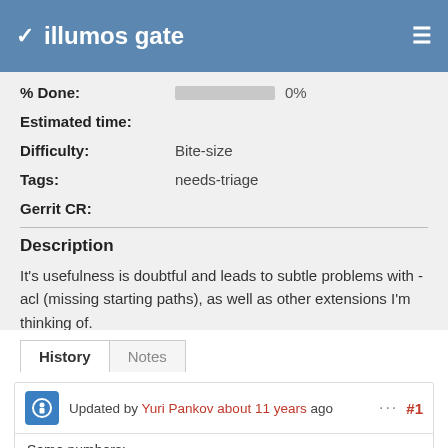illumos gate
| % Done: | 0% |
| Estimated time: |  |
| Difficulty: | Bite-size |
| Tags: | needs-triage |
| Gerrit CR: |  |
Description
It's usefulness is doubtful and leads to subtle problems with -acl (missing starting paths), as well as other extensions I'm thinking of.
History  Notes
Updated by Yuri Pankov about 11 years ago  ···  #1
Some numbers: